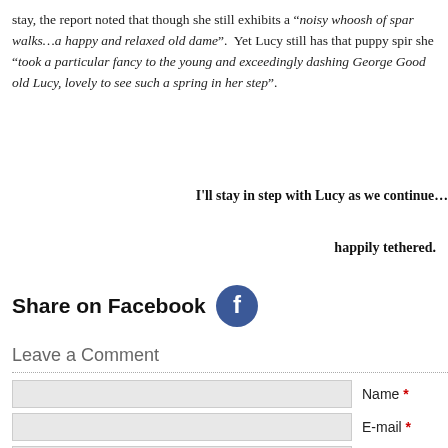stay, the report noted that though she still exhibits a “noisy whoosh of spar walks…a happy and relaxed old dame”. Yet Lucy still has that puppy spir she “took a particular fancy to the young and exceedingly dashing George Good old Lucy, lovely to see such a spring in her step”.
I’ll stay in step with Lucy as we continue…
happily tethered.
Share on Facebook
Leave a Comment
Name *
E-mail *
Website